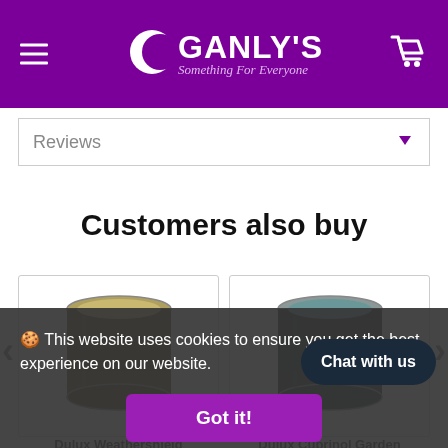Ganly's - Something For Everyone
Reviews
Customers also buy
[Figure (photo): Paint tin - Dulux Weathershield, dark olive/gold color]
[Figure (photo): Paint tin - Dulux Cuprinol Garden, dark teal/navy color]
Dulux Weathershield
Dulux Cuprinol Garden
🍪 This website uses cookies to ensure you get the best experience on our website.
Got it!
Chat with us